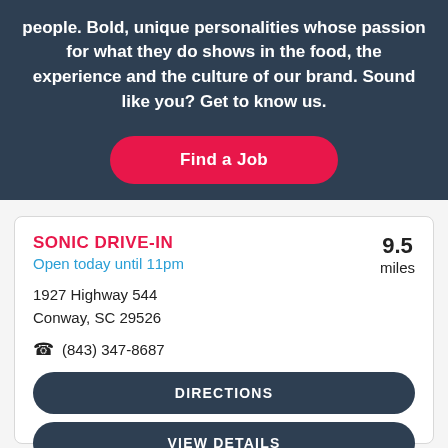people. Bold, unique personalities whose passion for what they do shows in the food, the experience and the culture of our brand. Sound like you? Get to know us.
Find a Job
SONIC DRIVE-IN
Open today until 11pm
9.5 miles
1927 Highway 544
Conway, SC 29526
(843) 347-8687
DIRECTIONS
VIEW DETAILS